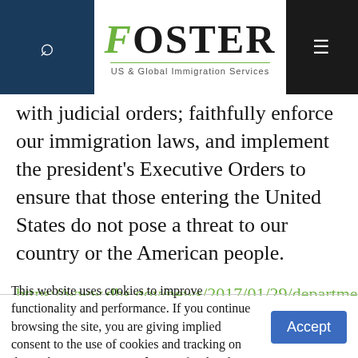Foster US & Global Immigration Services
with judicial orders; faithfully enforce our immigration laws, and implement the president's Executive Orders to ensure that those entering the United States do not pose a threat to our country or the American people.
https://www.dhs.gov/news/2017/01/29/department-homeland-security-response-recent-litigation
This website uses cookies to improve functionality and performance. If you continue browsing the site, you are giving implied consent to the use of cookies and tracking on this website. See our Read More for details.